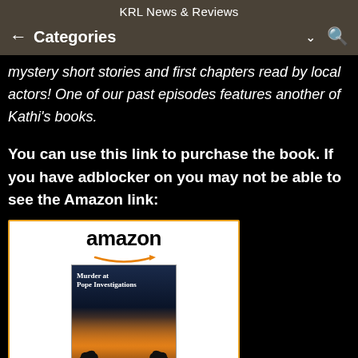KRL News & Reviews
Categories
mystery short stories and first chapters read by local actors! One of our past episodes features another of Kathi's books.
You can use this link to purchase the book. If you have adblocker on you may not be able to see the Amazon link:
[Figure (other): Amazon widget showing book cover for 'Murder at Pope' with Amazon logo and orange arrow smile]
Murder at Pope